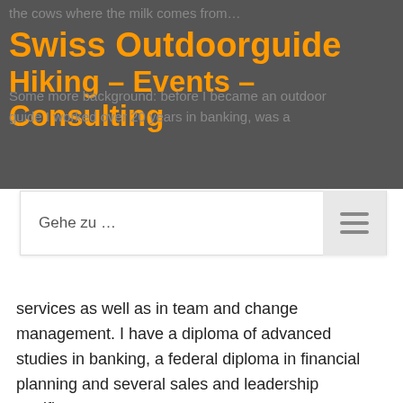Swiss Outdoorguide
Hiking - Events - Consulting
Some more background: before I became an outdoor guide I worked over 20 years in banking, was a
Gehe zu ...
services as well as in team and change management. I have a diploma of advanced studies in banking, a federal diploma in financial planning and several sales and leadership certificates.
I am fluent in English and I will be pleased to guide you outdoors. I offer group and individual outdoor adventures. Let's customize your VIP tour – please contact me. If you subscribe for a group tour don't worry – I will give you the necessary information and instructions in English. More about me